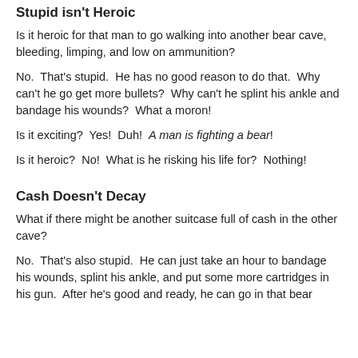Stupid isn't Heroic
Is it heroic for that man to go walking into another bear cave, bleeding, limping, and low on ammunition?
No.  That's stupid.  He has no good reason to do that.  Why can't he go get more bullets?  Why can't he splint his ankle and bandage his wounds?  What a moron!
Is it exciting?  Yes!  Duh!  A man is fighting a bear!
Is it heroic?  No!  What is he risking his life for?  Nothing!
Cash Doesn't Decay
What if there might be another suitcase full of cash in the other cave?
No.  That's also stupid.  He can just take an hour to bandage his wounds, splint his ankle, and put some more cartridges in his gun.  After he's good and ready, he can go in that bear